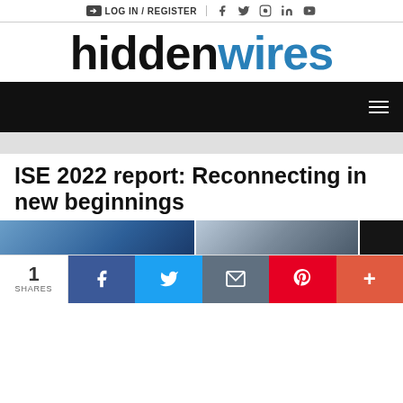LOG IN / REGISTER  f  Twitter  Instagram  in  YouTube
[Figure (logo): hiddenwires logo — 'hidden' in black, 'wires' in blue]
[Figure (screenshot): Black navigation bar with hamburger menu icon on the right]
ISE 2022 report: Reconnecting in new beginnings
[Figure (photo): Partial article hero image — blue-toned ceiling/interior shot]
1 SHARES
[Figure (infographic): Social share bar with Facebook, Twitter, Email, Pinterest, and More buttons]